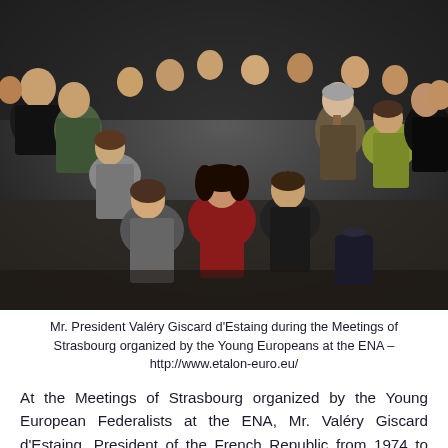[Figure (photo): Group photo of Mr. President Valéry Giscard d'Estaing with young people during the Meetings of Strasbourg organized by the Young Europeans at the ENA. A large group of young men and women are gathered around an older gentleman in a suit, all smiling in what appears to be a conference or assembly hall.]
Mr. President Valéry Giscard d'Estaing during the Meetings of Strasbourg organized by the Young Europeans at the ENA – http://www.etalon-euro.eu/
At the Meetings of Strasbourg organized by the Young European Federalists at the ENA, Mr. Valéry Giscard d'Estaing, President of the French Republic from 1974 to 1981, answered to our questions. According to Mr Giscard d'Estaing, the euro is the most tangible symbol of the common identity and the values we share. In order to get